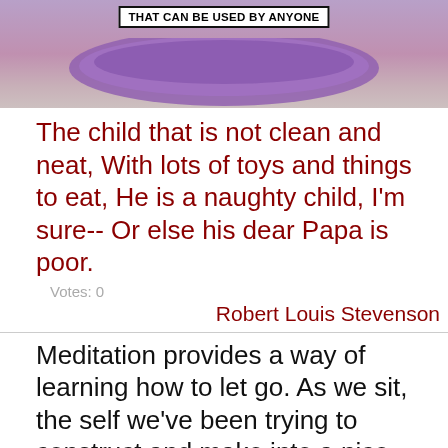[Figure (photo): Purple bowl/dish on a wooden surface with a banner text overlay reading 'THAT CAN BE USED BY ANYONE']
The child that is not clean and neat, With lots of toys and things to eat, He is a naughty child, I'm sure-- Or else his dear Papa is poor.
Votes: 0
Robert Louis Stevenson
Meditation provides a way of learning how to let go. As we sit, the self we've been trying to construct and make into a nice, neat package continues to unravel.  Votes: 0
Joh...wood
[Figure (infographic): Advertisement: '37 ITEMS PEOPLE LOVE TO PURCHASE ON AMAZON' with CLOSE button and 22 Words logo]
It's im... be too flashily dressed. If you look untidy, you're considered to have an untidy mind - it's as